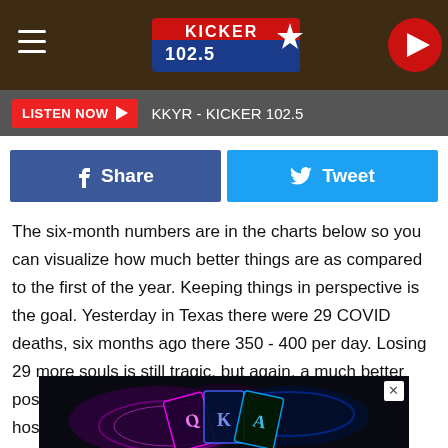[Figure (screenshot): Kicker 102.5 radio station website header with logo, hamburger menu, and play button]
[Figure (screenshot): Listen Now bar with red button and KKYR - KICKER 102.5 text]
[Figure (screenshot): Facebook Share and Twitter Tweet social sharing buttons]
The six-month numbers are in the charts below so you can visualize how much better things are as compared to the first of the year. Keeping things in perspective is the goal. Yesterday in Texas there were 29 COVID deaths, six months ago there 350 - 400 per day. Losing 29 more souls is still tragic, but again, a much better position than we were in in January. Texas hospitalizations six months ago were over 14,000, yesterday less than 2300 in the whole state.
[Figure (photo): Advertisement image showing playing cards (Q, K, A) with neon lighting on dark background]